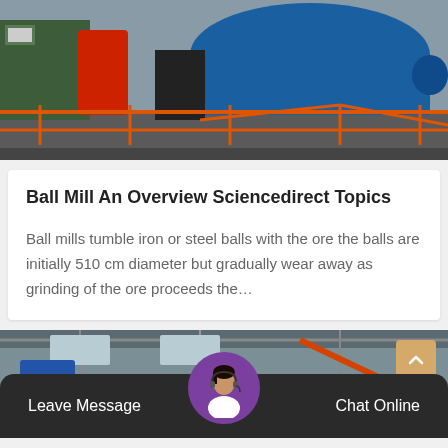[Figure (photo): Industrial ball mill equipment in a factory setting with orange safety railings, green and blue cylindrical machinery]
Ball Mill An Overview Sciencedirect Topics
Ball mills tumble iron or steel balls with the ore the balls are initially 510 cm diameter but gradually wear away as grinding of the ore proceeds the…
[Figure (photo): Industrial factory interior with steel structures and orange beams, partially visible]
Leave Message
Chat Online